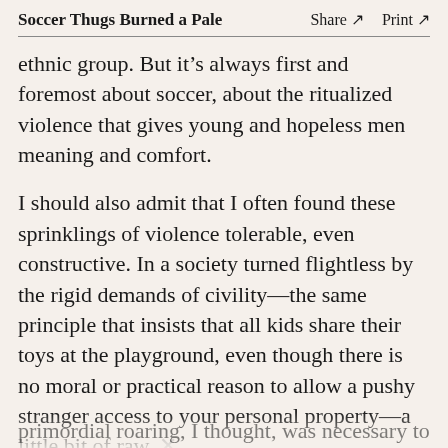Soccer Thugs Burned a Pale  Share ↗  Print ↗
ethnic group. But it's always first and foremost about soccer, about the ritualized violence that gives young and hopeless men meaning and comfort.
I should also admit that I often found these sprinklings of violence tolerable, even constructive. In a society turned flightless by the rigid demands of civility—the same principle that insists that all kids share their toys at the playground, even though there is no moral or practical reason to allow a pushy stranger access to your personal property—a little bit of raw, primordial roaring, I thought, was necessary to